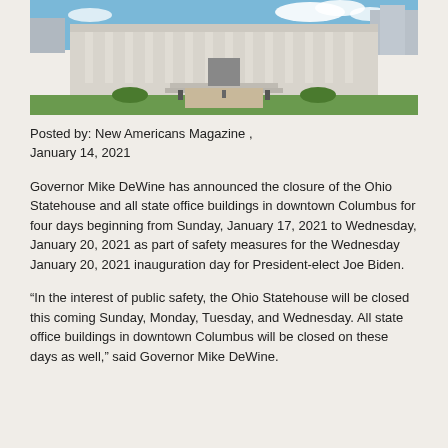[Figure (photo): Exterior photograph of the Ohio Statehouse building with columns, green lawn, brick plaza, and blue sky with clouds]
Posted by: New Americans Magazine , January 14, 2021
Governor Mike DeWine has announced the closure of the Ohio Statehouse and all state office buildings in downtown Columbus for four days beginning from Sunday, January 17, 2021 to Wednesday, January 20, 2021 as part of safety measures for the Wednesday January 20, 2021 inauguration day for President-elect Joe Biden.
“In the interest of public safety, the Ohio Statehouse will be closed this coming Sunday, Monday, Tuesday, and Wednesday. All state office buildings in downtown Columbus will be closed on these days as well,” said Governor Mike DeWine.